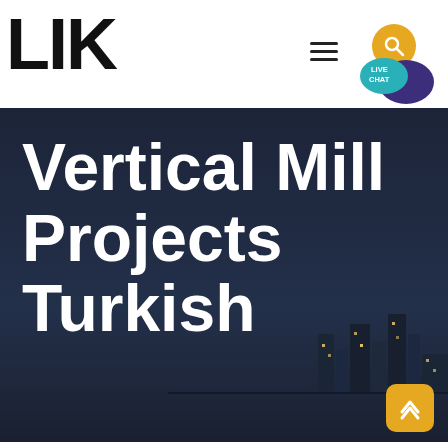LIK
Vertical Mill Projects Turkish
[Figure (screenshot): Website screenshot showing LIK logo in header with hamburger menu, search icon (yellow circle), live chat speech bubble, and a dark navy hero section with city skyline silhouette at the bottom right. A yellow rounded scroll-to-top button is visible at the bottom right.]